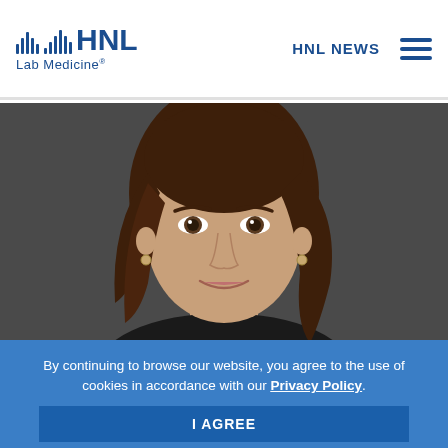HNL Lab Medicine — HNL NEWS
[Figure (photo): Headshot of a woman with long brown hair, pearl drop earrings, smiling, against a dark gray background.]
By continuing to browse our website, you agree to the use of cookies in accordance with our Privacy Policy.
I AGREE